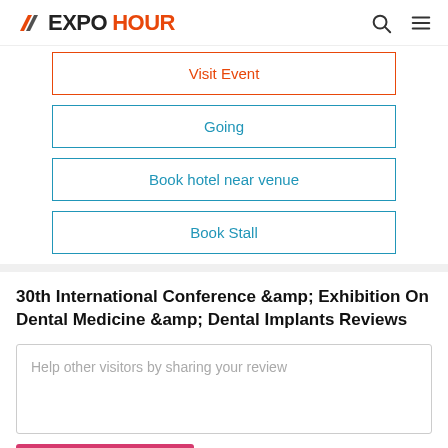EXPO HOUR
Visit Event
Going
Book hotel near venue
Book Stall
30th International Conference &amp; Exhibition On Dental Medicine &amp; Dental Implants Reviews
Help other visitors by sharing your review
Add Your Review